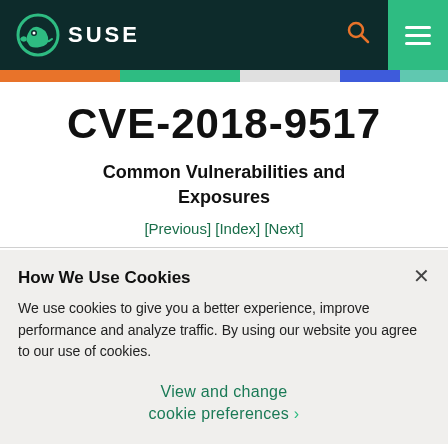SUSE
CVE-2018-9517
Common Vulnerabilities and Exposures
[Previous] [Index] [Next]
How We Use Cookies
We use cookies to give you a better experience, improve performance and analyze traffic. By using our website you agree to our use of cookies.
View and change cookie preferences >